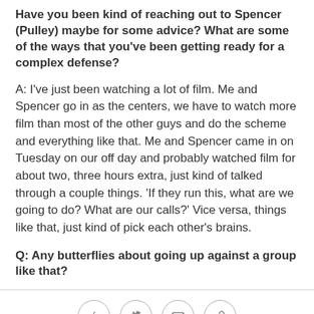Have you been kind of reaching out to Spencer (Pulley) maybe for some advice? What are some of the ways that you've been getting ready for a complex defense?
A: I've just been watching a lot of film. Me and Spencer go in as the centers, we have to watch more film than most of the other guys and do the scheme and everything like that. Me and Spencer came in on Tuesday on our off day and probably watched film for about two, three hours extra, just kind of talked through a couple things. 'If they run this, what are we going to do? What are our calls?' Vice versa, things like that, just kind of pick each other's brains.
Q: Any butterflies about going up against a group like that?
[Figure (other): Social sharing icons: Facebook, Twitter, email, and link/copy icons in circular outlines arranged in a row]